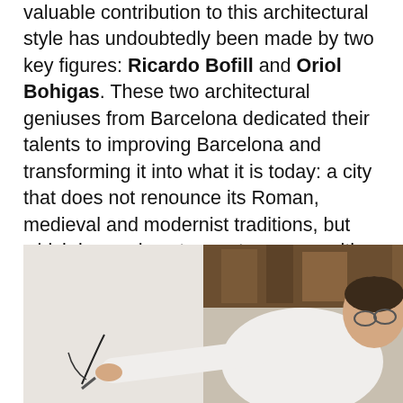Valuable contribution to this architectural style has undoubtedly been made by two key figures: Ricardo Bofill and Oriol Bohigas. These two architectural geniuses from Barcelona dedicated their talents to improving Barcelona and transforming it into what it is today: a city that does not renounce its Roman, medieval and modernist traditions, but which knows how to create spaces with globalized trends. Both have recently left us but their legacy lives on in the streets of their city.
[Figure (photo): A man in a white shirt, wearing glasses, reaching out to draw or write on a white wall or surface, photographed outdoors with a wooden beam ceiling visible in the background.]